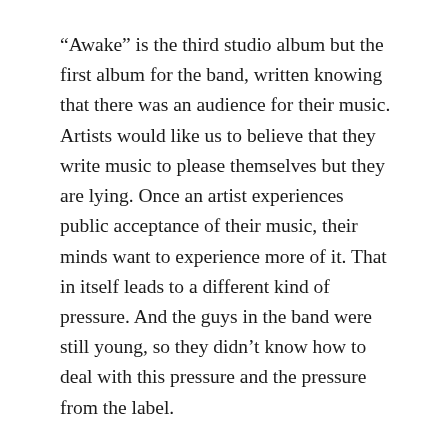“Awake” is the third studio album but the first album for the band, written knowing that there was an audience for their music. Artists would like us to believe that they write music to please themselves but they are lying. Once an artist experiences public acceptance of their music, their minds want to experience more of it. That in itself leads to a different kind of pressure. And the guys in the band were still young, so they didn’t know how to deal with this pressure and the pressure from the label.